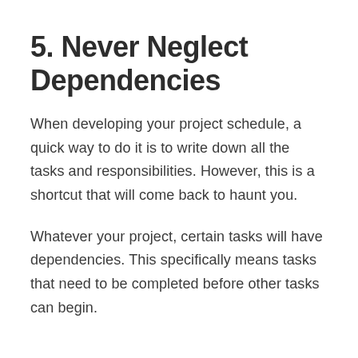5. Never Neglect Dependencies
When developing your project schedule, a quick way to do it is to write down all the tasks and responsibilities. However, this is a shortcut that will come back to haunt you.
Whatever your project, certain tasks will have dependencies. This specifically means tasks that need to be completed before other tasks can begin.